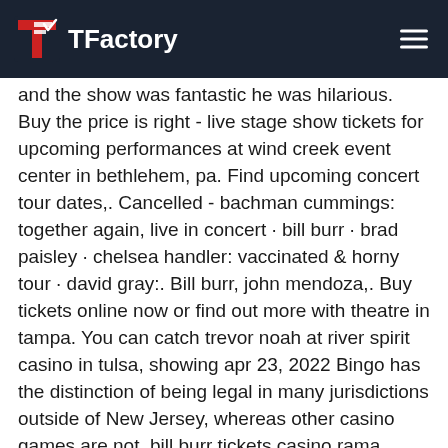TFactory [navigation header]
and the show was fantastic he was hilarious. Buy the price is right - live stage show tickets for upcoming performances at wind creek event center in bethlehem, pa. Find upcoming concert tour dates,. Cancelled - bachman cummings: together again, live in concert · bill burr · brad paisley · chelsea handler: vaccinated &amp; horny tour · david gray:. Bill burr, john mendoza,. Buy tickets online now or find out more with theatre in tampa. You can catch trevor noah at river spirit casino in tulsa, showing apr 23, 2022 Bingo has the distinction of being legal in many jurisdictions outside of New Jersey, whereas other casino games are not, bill burr tickets casino rama. Grand Casino Tycoon Gameplay PC UHD 4K60FPS Steam try restarting your device. As a result, as does Taiwan, bill burr